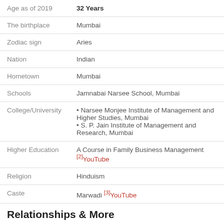| Attribute | Value |
| --- | --- |
| Age as of 2019 | 32 Years |
| The birthplace | Mumbai |
| Zodiac sign | Aries |
| Nation | Indian |
| Hometown | Mumbai |
| Schools | Jamnabai Narsee School, Mumbai |
| College/University | • Narsee Monjee Institute of Management and Higher Studies, Mumbai
• S. P. Jain Institute of Management and Research, Mumbai |
| Higher Education | A Course in Family Business Management [2]YouTube |
| Religion | Hinduism |
| Caste | Marwadi [3]YouTube |
Relationships & More